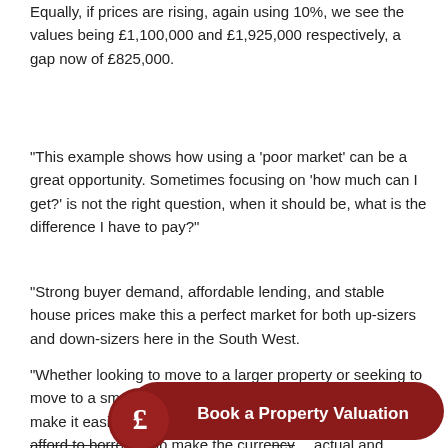Equally, if prices are rising, again using 10%, we see the values being £1,100,000 and £1,925,000 respectively, a gap now of £825,000.
“This example shows how using a ‘poor market’ can be a great opportunity. Sometimes focusing on ‘how much can I get?’ is not the right question, when it should be, what is the difference I have to pay?”
“Strong buyer demand, affordable lending, and stable house prices make this a perfect market for both up-sizers and down-sizers here in the South West.
“Whether looking to move to a larger property or seeking to move to a smaller, easier to manage home, stable prices make it easier to plan and healthier demand from buyers who can afford to borrow help make the current… actual and purchase prices are less important than the price
[Figure (other): Red circular pound sign icon with 'Book a Property Valuation' CTA banner in dark red/maroon]